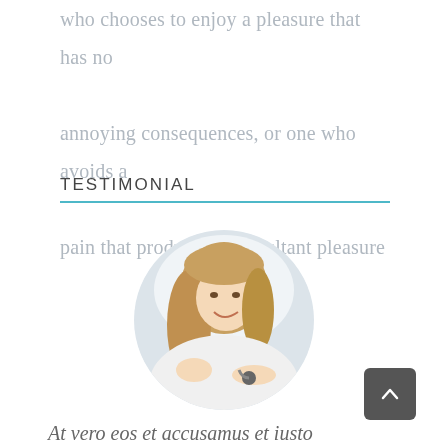who chooses to enjoy a pleasure that has no annoying consequences, or one who avoids a pain that produces no resultant pleasure
TESTIMONIAL
[Figure (photo): A smiling young girl lying down, appearing to be a patient, with what looks like a stethoscope nearby. The photo is cropped in a circle.]
At vero eos et accusamus et iusto